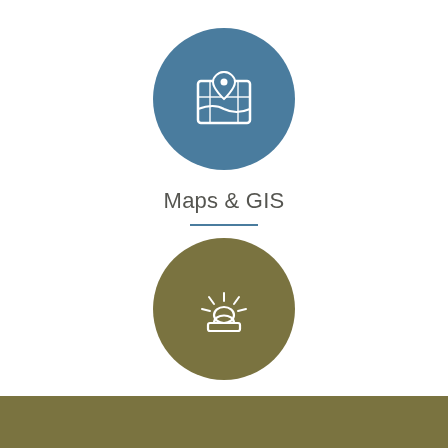[Figure (illustration): Blue circle icon with a map and location pin symbol]
Maps & GIS
[Figure (illustration): Olive/khaki circle icon with an emergency alarm/siren symbol with light rays]
Everbridge Alert System